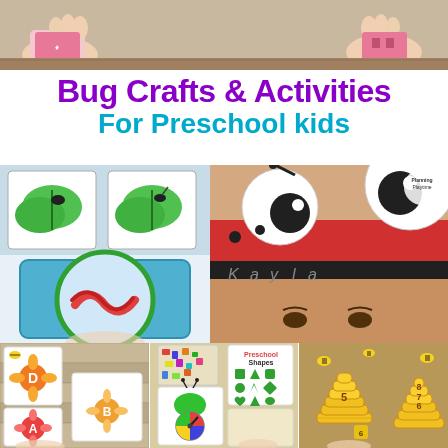[Figure (photo): Two side-by-side photos of hands doing a craft activity with pink paper/cards on a wooden surface]
Bug Crafts & Activities
For Preschool kids
[Figure (photo): Left collage: bug cards with insects on leaves (top) and child's hand holding magnifying glass with red worm toy (bottom)]
[Figure (photo): Right: child wearing a red ladybug paper crown/headband with googly eyes, name 'Kayla' visible]
[Figure (photo): Bottom left: bee and flower alphabet matching cards on wood surface]
[Figure (photo): Bottom center: bug spinner board craft with shape matching cards and colorful manipulatives]
[Figure (photo): Bottom right: yellow beehive number activity with numbered bee pieces on brown surface]